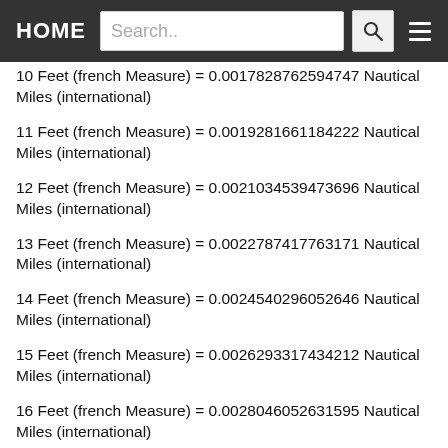HOME | Search..
10 Feet (french Measure) = 0.0017828762594747 Nautical Miles (international)
11 Feet (french Measure) = 0.0019281661184222 Nautical Miles (international)
12 Feet (french Measure) = 0.0021034539473696 Nautical Miles (international)
13 Feet (french Measure) = 0.0022787417763171 Nautical Miles (international)
14 Feet (french Measure) = 0.0024540296052646 Nautical Miles (international)
15 Feet (french Measure) = 0.0026293317434212 Nautical Miles (international)
16 Feet (french Measure) = 0.0028046052631595 Nautical Miles (international)